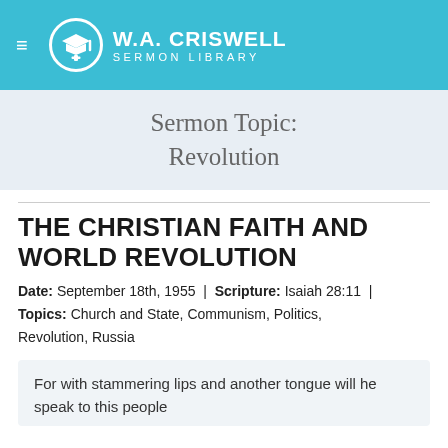W.A. CRISWELL SERMON LIBRARY
Sermon Topic: Revolution
THE CHRISTIAN FAITH AND WORLD REVOLUTION
Date: September 18th, 1955 | Scripture: Isaiah 28:11 | Topics: Church and State, Communism, Politics, Revolution, Russia
For with stammering lips and another tongue will he speak to this people